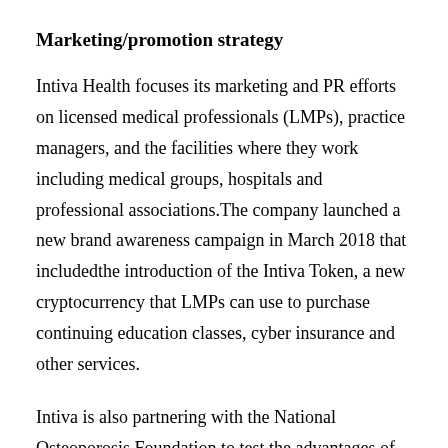Marketing/promotion strategy
Intiva Health focuses its marketing and PR efforts on licensed medical professionals (LMPs), practice managers, and the facilities where they work including medical groups, hospitals and professional associations.The company launched a new brand awareness campaign in March 2018 that includedthe introduction of the Intiva Token, a new cryptocurrency that LMPs can use to purchase continuing education classes, cyber insurance and other services.
Intiva is also partnering with the National Osteoporosis Foundation to test the advantages of using the Intiva Token for charitable donations.
Market